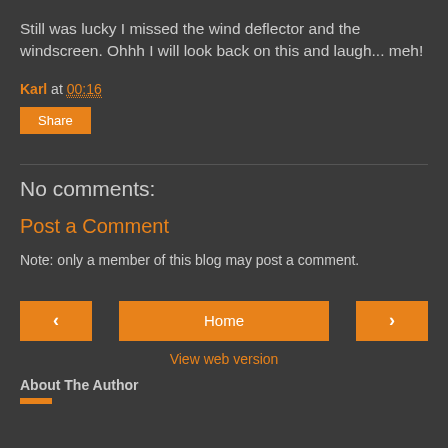Still was lucky I missed the wind deflector and the windscreen. Ohhh I will look back on this and laugh... meh!
Karl at 00:16
Share
No comments:
Post a Comment
Note: only a member of this blog may post a comment.
< Home >
View web version
About The Author